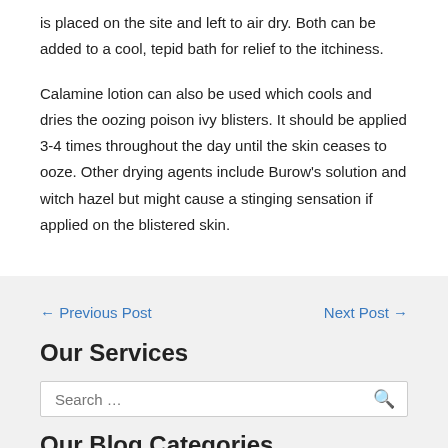is placed on the site and left to air dry. Both can be added to a cool, tepid bath for relief to the itchiness.
Calamine lotion can also be used which cools and dries the oozing poison ivy blisters. It should be applied 3-4 times throughout the day until the skin ceases to ooze. Other drying agents include Burow's solution and witch hazel but might cause a stinging sensation if applied on the blistered skin.
← Previous Post
Next Post →
Our Services
Search …
Our Blog Categories